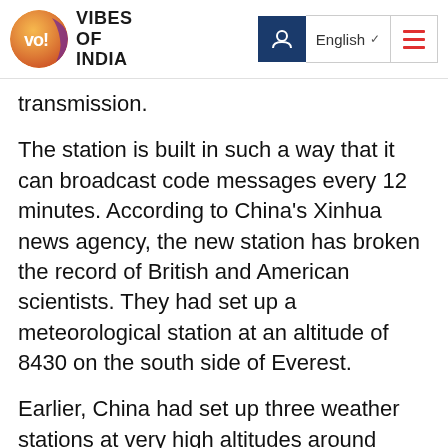Vibes of India — navigation header with logo, English language selector, and menu
transmission.
The station is built in such a way that it can broadcast code messages every 12 minutes. According to China's Xinhua news agency, the new station has broken the record of British and American scientists. They had set up a meteorological station at an altitude of 8430 on the south side of Everest.
Earlier, China had set up three weather stations at very high altitudes around Everest. These stations are located at an altitude of 7,028 meters, 7,790 meters and 8,300 meters north of Everest. There are now seven such meteorological stations operating in Beijing altitude area from 5,000 meters above...